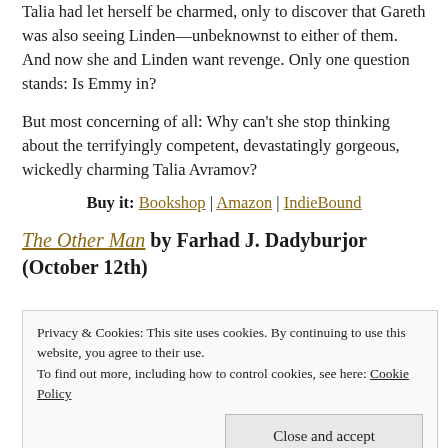Talia had let herself be charmed, only to discover that Gareth was also seeing Linden—unbeknownst to either of them. And now she and Linden want revenge. Only one question stands: Is Emmy in?
But most concerning of all: Why can't she stop thinking about the terrifyingly competent, devastatingly gorgeous, wickedly charming Talia Avramov?
Buy it: Bookshop | Amazon | IndieBound
The Other Man by Farhad J. Dadyburjor (October 12th)
Privacy & Cookies: This site uses cookies. By continuing to use this website, you agree to their use.
To find out more, including how to control cookies, see here: Cookie Policy
Close and accept
closeted gay man. Thirty-